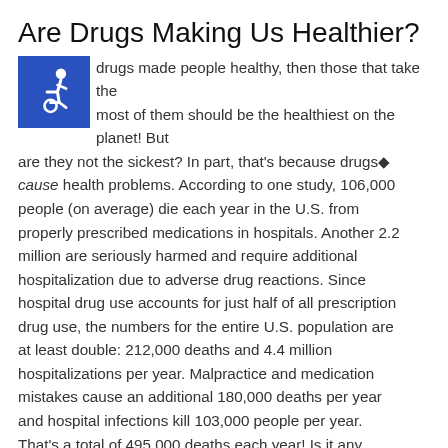Are Drugs Making Us Healthier?
[Figure (illustration): Blue square accessibility icon with wheelchair symbol in white]
If drugs made people healthy, then those that take the most of them should be the healthiest on the planet! But are they not the sickest? In part, that's because drugs cause health problems. According to one study, 106,000 people (on average) die each year in the U.S. from properly prescribed medications in hospitals. Another 2.2 million are seriously harmed and require additional hospitalization due to adverse drug reactions. Since hospital drug use accounts for just half of all prescription drug use, the numbers for the entire U.S. population are at least double: 212,000 deaths and 4.4 million hospitalizations per year. Malpractice and medication mistakes cause an additional 180,000 deaths per year and hospital infections kill 103,000 people per year. That's a total of 495,000 deaths each year! Is it any wonder that modern medicine is the third leading cause of death in the U.S. and quite possibly kills as many